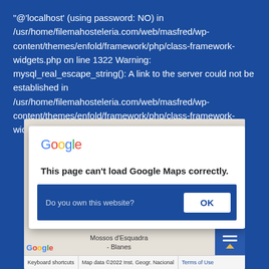'@'localhost' (using password: NO) in /usr/home/filemahosteleria.com/web/masfred/wp-content/themes/enfold/framework/php/class-framework-widgets.php on line 1322 Warning: mysql_real_escape_string(): A link to the server could not be established in /usr/home/filemahosteleria.com/web/masfred/wp-content/themes/enfold/framework/php/class-framework-widgets.php on line 1322
[Figure (screenshot): A Google Maps error dialog saying 'This page can't load Google Maps correctly.' with a 'Do you own this website?' prompt and an OK button, overlaid on a map of Mossos d'Esquadra - Blanes. Map footer shows Keyboard shortcuts, Map data ©2022 Inst. Geogr. Nacional, Terms of Use.]